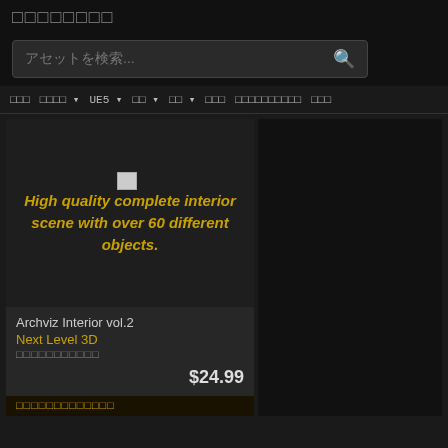□□□□□□□□
アセットを検索...
□□□  □□□□ ▾  UE5 ▾  □□ ▾  □□ ▾  □□□  □□□□□□□□□□  □□□
[Figure (screenshot): Product card for Archviz Interior vol.2 showing broken image placeholder with yellow italic text 'High quality complete interior scene with over 60 different objects.' Price $24.99, author Next Level 3D]
Archviz Interior vol.2
Next Level 3D
□□□□□□□□□□□
$24.99
□□□□□□□□□□□□□